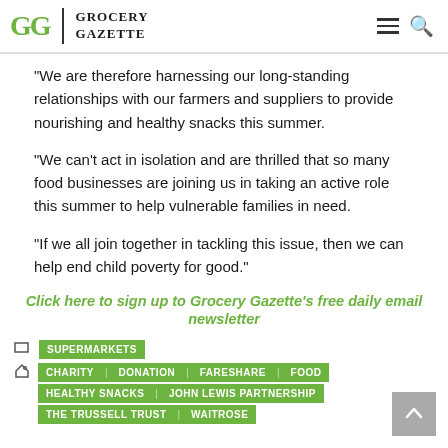Grocery Gazette
“We are therefore harnessing our long-standing relationships with our farmers and suppliers to provide nourishing and healthy snacks this summer.
“We can’t act in isolation and are thrilled that so many food businesses are joining us in taking an active role this summer to help vulnerable families in need.
“If we all join together in tackling this issue, then we can help end child poverty for good.”
Click here to sign up to Grocery Gazette’s free daily email newsletter
SUPERMARKETS
CHARITY | DONATION | FARESHARE | FOOD | HEALTHY SNACKS | JOHN LEWIS PARTNERSHIP | THE TRUSSELL TRUST | WAITROSE